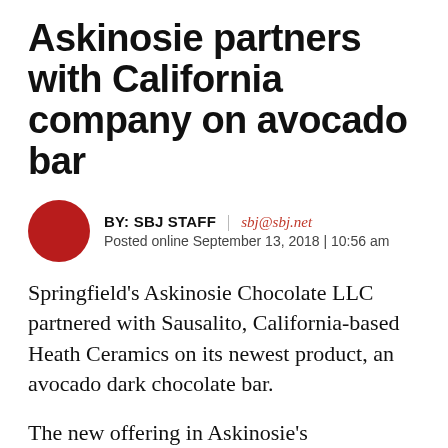Askinosie partners with California company on avocado bar
BY: SBJ STAFF | sbj@sbj.net
Posted online September 13, 2018 | 10:56 am
Springfield's Askinosie Chocolate LLC partnered with Sausalito, California-based Heath Ceramics on its newest product, an avocado dark chocolate bar.
The new offering in Askinosie's CollaBARation line, dubbed Dark Chocolate + Avocado & Rosemary, incorporates Hass avocados mixed with cocoa beans from Tanzania, organic rosemary and black pepper. It debuted yesterday, according to a